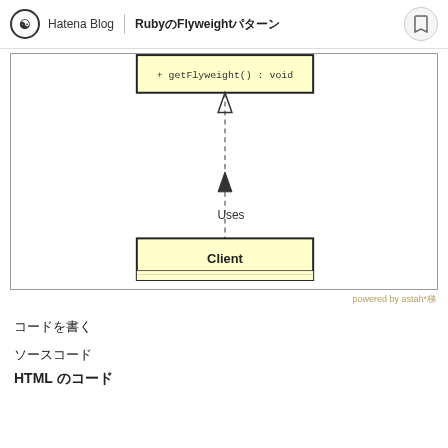Hatena Blog | RubyのFlyweightパターン
[Figure (engineering-diagram): UML class diagram showing a partial view. At the top is a class box with method '+ getFlyweight() : void'. Below it, connected by a dashed arrow pointing upward labeled 'Uses', is a 'Client' class box with empty attribute and method compartments.]
powered by astah*
コードを書く
ソースコード
HTML のコード